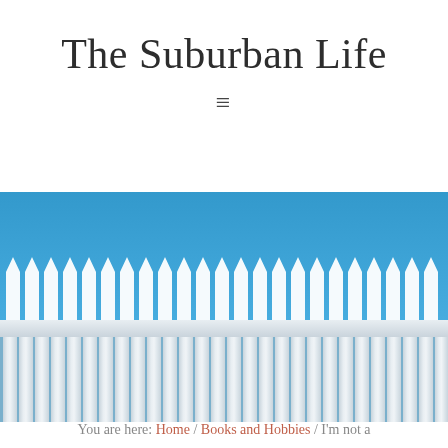The Suburban Life
[Figure (illustration): White picket fence illustration against a blue sky background, showing pointed fence tops and vertical slats below a horizontal rail]
You are here: Home / Books and Hobbies / I'm not a